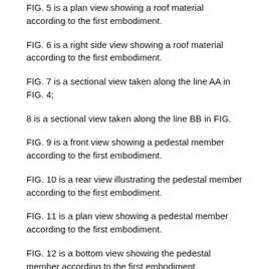FIG. 5 is a plan view showing a roof material according to the first embodiment.
FIG. 6 is a right side view showing a roof material according to the first embodiment.
FIG. 7 is a sectional view taken along the line AA in FIG. 4;
8 is a sectional view taken along the line BB in FIG.
FIG. 9 is a front view showing a pedestal member according to the first embodiment.
FIG. 10 is a rear view illustrating the pedestal member according to the first embodiment.
FIG. 11 is a plan view showing a pedestal member according to the first embodiment.
FIG. 12 is a bottom view showing the pedestal member according to the first embodiment.
FIG. 13 is a right side view showing the pedestal member according to the first embodiment.
14 is a sectional view taken along the line CC in FIG. 11;